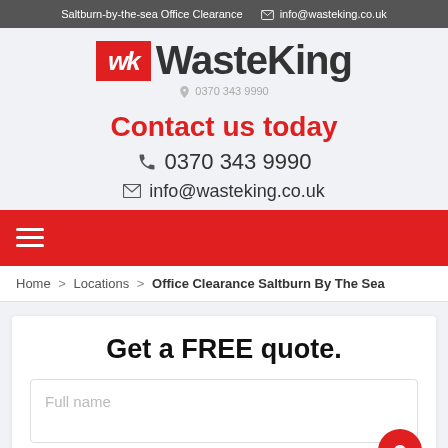Saltburn-by-the-sea Office Clearance  ✉ info@wasteking.co.uk
[Figure (logo): WasteKing logo with red WK icon and grey WasteKing wordmark]
☎ 0370 343 9990
Contact us today
☎ 0370 343 9990
✉ info@wasteking.co.uk
Home > Locations > Office Clearance Saltburn By The Sea
Get a FREE quote.
Full name